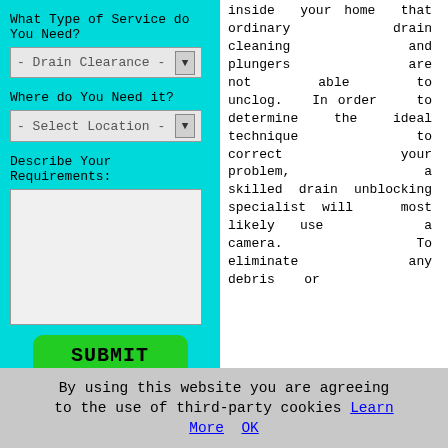[Figure (screenshot): Web form with cyan background containing service type dropdown (Drain Clearance), location dropdown (Select Location), requirements textarea, and green SUBMIT button]
inside your home that ordinary drain cleaning chemicals and plungers are not able to unclog. In order to determine the ideal technique to correct your problem, a skilled drain unblocking specialist will most likely use a camera. To eliminate any debris or
build up of waste matter, they will most likely use a combo
By using this website you are agreeing to the use of third-party cookies Learn More OK